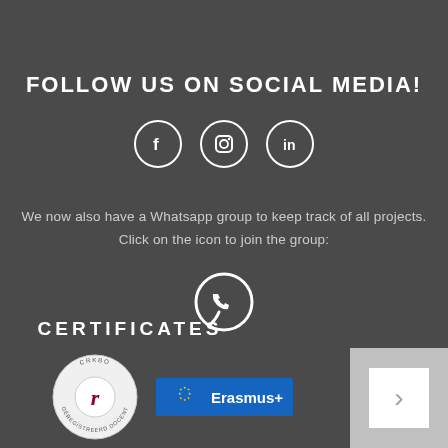FOLLOW US ON SOCIAL MEDIA!
[Figure (illustration): Three social media icons in white circles: Facebook (f), Instagram (camera icon), LinkedIn (in)]
We now also have a Whatsapp group to keep track of all projects. Click on the icon to join the group:
[Figure (illustration): WhatsApp icon: white phone in speech bubble circle outline]
CERTIFICATES
[Figure (illustration): Two certificate logos: a circular stamp reading CRKBO GEREGISTREERD DOCENT with a red 'r' in center, and an Erasmus+ logo with EU stars flag]
[Figure (illustration): Gray box with white square inside (navigation button)]